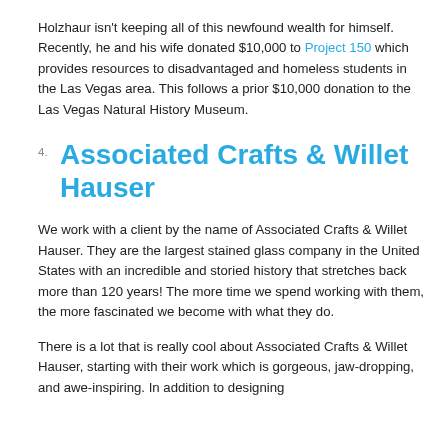Holzhaur isn't keeping all of this newfound wealth for himself. Recently, he and his wife donated $10,000 to Project 150 which provides resources to disadvantaged and homeless students in the Las Vegas area. This follows a prior $10,000 donation to the Las Vegas Natural History Museum.
4. Associated Crafts & Willet Hauser
We work with a client by the name of Associated Crafts & Willet Hauser. They are the largest stained glass company in the United States with an incredible and storied history that stretches back more than 120 years! The more time we spend working with them, the more fascinated we become with what they do.
There is a lot that is really cool about Associated Crafts & Willet Hauser, starting with their work which is gorgeous, jaw-dropping, and awe-inspiring. In addition to designing